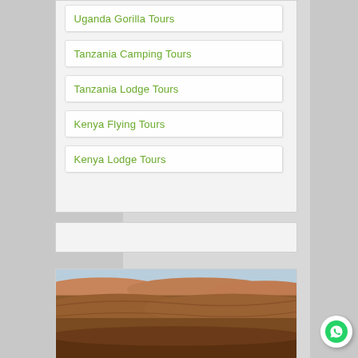Uganda Gorilla Tours
Tanzania Camping Tours
Tanzania Lodge Tours
Kenya Flying Tours
Kenya Lodge Tours
[Figure (photo): Landscape photo showing rolling brown hills or savanna terrain with a pale blue sky at the top, typical of East African safari landscape.]